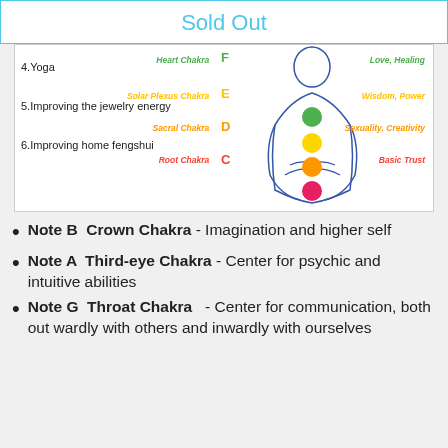Sold Out
[Figure (infographic): Chakra diagram showing a meditating figure with colored chakra circles (green, yellow, orange, red) and labeled notes F, E, D, C on the left, chakra names in colored italic text, and chakra meanings on the right.]
4.Yoga
5.Improving the jewelry energy
6.Improving home fengshui
Note B  Crown Chakra - Imagination and higher self
Note A  Third-eye Chakra - Center for psychic and intuitive abilities
Note G  Throat Chakra   - Center for communication, both out wardly with others and inwardly with ourselves